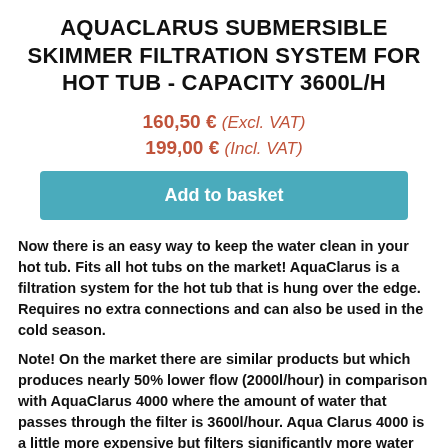AQUACLARUS SUBMERSIBLE SKIMMER FILTRATION SYSTEM FOR HOT TUB - CAPACITY 3600L/H
160,50 € (Excl. VAT)
199,00 € (Incl. VAT)
Add to basket
Now there is an easy way to keep the water clean in your hot tub. Fits all hot tubs on the market! AquaClarus is a filtration system for the hot tub that is hung over the edge. Requires no extra connections and can also be used in the cold season.
Note! On the market there are similar products but which produces nearly 50% lower flow (2000l/hour) in comparison with AquaClarus 4000 where the amount of water that passes through the filter is 3600l/hour. Aqua Clarus 4000 is a little more expensive but filters significantly more water